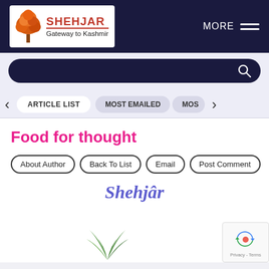[Figure (logo): Shehjar logo — orange tree with text 'SHEHJAR Gateway to Kashmir' on white background, on dark navy header]
MORE
[Figure (screenshot): Dark navy rounded search bar with magnifying glass icon]
ARTICLE LIST
MOST EMAILED
MOS
Food for thought
About Author
Back To List
Email
Post Comment
Shehjâr
[Figure (illustration): Green plant/grass illustration at the bottom center of the page]
[Figure (other): reCAPTCHA badge with recycling arrows logo, Privacy and Terms links]